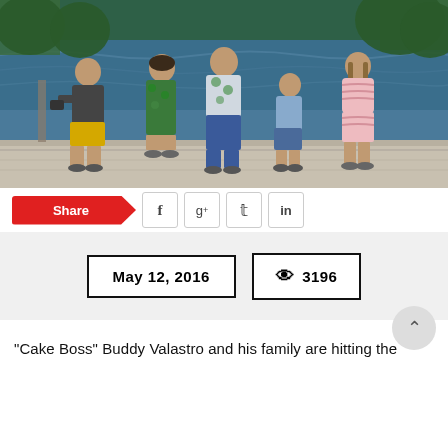[Figure (photo): Family group of 5 people standing on a dock by a river or lake in summer, wearing casual summer clothing including yellow shorts, floral shirt, denim shorts, and pink dress.]
Share
f  g+  t  in
May 12, 2016   👁 3196
"Cake Boss" Buddy Valastro and his family are hitting the